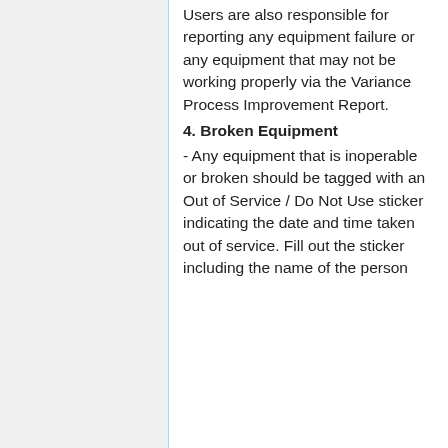Users are also responsible for reporting any equipment failure or any equipment that may not be working properly via the Variance Process Improvement Report.
4. Broken Equipment
- Any equipment that is inoperable or broken should be tagged with an Out of Service / Do Not Use sticker indicating the date and time taken out of service. Fill out the sticker including the name of the person